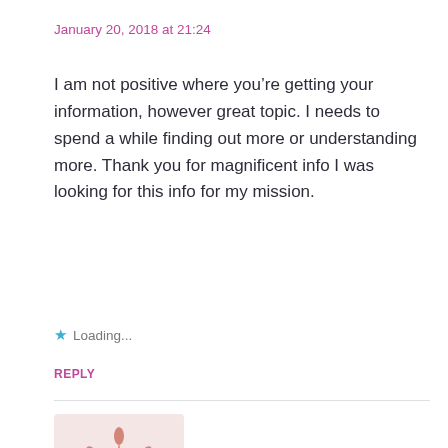January 20, 2018 at 21:24
I am not positive where you’re getting your information, however great topic. I needs to spend a while finding out more or understanding more. Thank you for magnificent info I was looking for this info for my mission.
★ Loading...
REPLY
[Figure (illustration): Decorative avatar image with pink/rose geometric snowflake-like pattern on a light pinkish background]
Alex